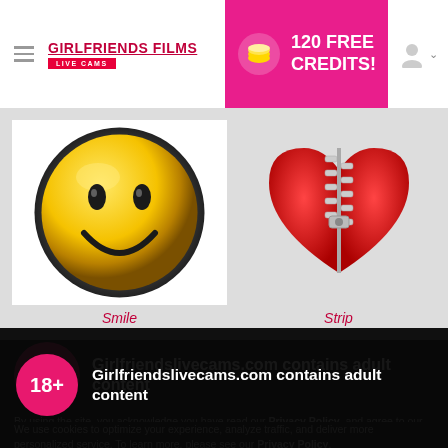GIRLFRIENDS FILMS LIVE CAMS | 120 FREE CREDITS!
[Figure (illustration): Golden smiley face button/emoji with black eyes and smile on white background]
Smile
[Figure (illustration): Red heart shape with zipper down the middle on grey background]
Strip
18+
Girlfriendslivecams.com contains adult content
By using the site, you acknowledge you have read our Privacy Policy, and agree to our Terms and Conditions.
We use cookies to optimize your experience, analyze traffic, and deliver more personalized service. To learn more, please see our Privacy Policy.
I AGREE